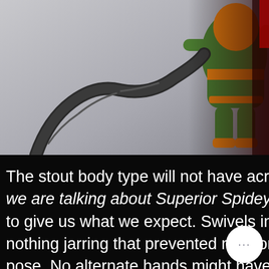[Figure (photo): Action figure of a Teenage Mutant Ninja Turtle character in green and orange costume, holding a dark tentacle/mechanical arm accessory, photographed against a grey background.]
The stout body type will not have acrobatics involved (unless we are talking about Superior Spidey), but Hasbro did not fail to give us what we expect. Swivels in the right places and nothing jarring that prevented me from getting some decent pose. No alternate hands might have taken away some possible poses but truly, the lack of movement on the tentacles, swivels or bendy wire, truly takes away from the action figure. Sure the tentacles can all be swapped on the four holes on his back, but